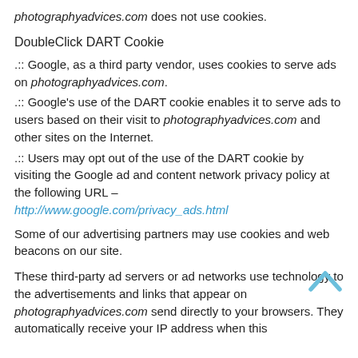photographyadvices.com does not use cookies.
DoubleClick DART Cookie
·:: Google, as a third party vendor, uses cookies to serve ads on photographyadvices.com.
·:: Google's use of the DART cookie enables it to serve ads to users based on their visit to photographyadvices.com and other sites on the Internet.
·:: Users may opt out of the use of the DART cookie by visiting the Google ad and content network privacy policy at the following URL – http://www.google.com/privacy_ads.html
Some of our advertising partners may use cookies and web beacons on our site.
These third-party ad servers or ad networks use technology to the advertisements and links that appear on photographyadvices.com send directly to your browsers. They automatically receive your IP address when this